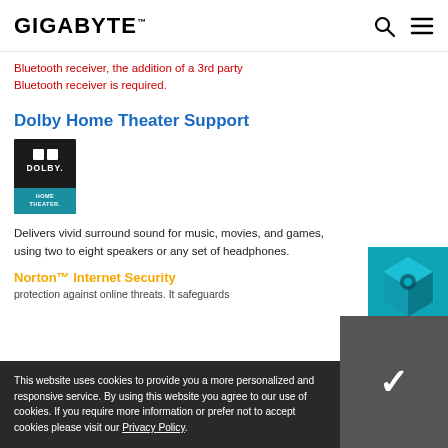GIGABYTE™
Bluetooth receiver, the addition of a 3rd party Bluetooth receiver is required.
Dolby Home Theater Support
[Figure (logo): Dolby Home Theater logo — black and teal box with DOLBY wordmark and HOME THEATER text]
Delivers vivid surround sound for music, movies, and games, using two to eight speakers or any set of headphones.
[Figure (illustration): 3D Industry advertisement — isometric 3D room rendering with '3D INDUSTRY >' label]
Norton™ Internet Security
This website uses cookies to provide you a more personalized and responsive service. By using this website you agree to our use of cookies. If you require more information or prefer not to accept cookies please visit our Privacy Policy.
protection against online threats. It safeguards